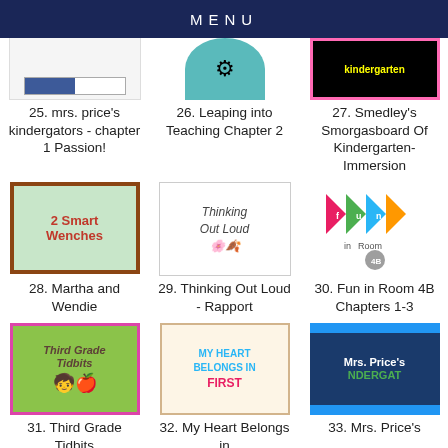MENU
[Figure (photo): Partial thumbnail row showing items 25, 26, 27 partially cropped at top]
25. mrs. price's kindergators - chapter 1 Passion!
26. Leaping into Teaching Chapter 2
27. Smedley's Smorgasboard Of Kindergarten-Immersion
[Figure (photo): 2 Smart Wenches blog thumbnail - green and red checkered border]
[Figure (photo): Thinking Out Loud blog thumbnail with pumpkins and flowers]
[Figure (photo): Fun in Room 4B colorful banner flags thumbnail]
28. Martha and Wendie
29. Thinking Out Loud - Rapport
30. Fun in Room 4B Chapters 1-3
[Figure (photo): Third Grade Tidbits green blog thumbnail]
[Figure (photo): My Heart Belongs in First blog thumbnail]
[Figure (photo): Mrs. Price's Kindergators blog thumbnail - blue and green]
31. Third Grade Tidbits
32. My Heart Belongs in
33. Mrs. Price's